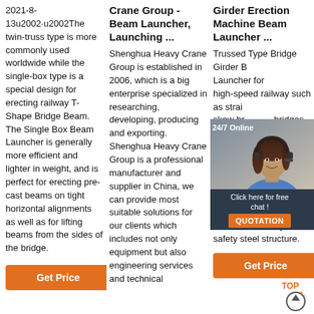2021-8-13u2002·u2002The twin-truss type is more commonly used worldwide while the single-box type is a special design for erecting railway T-Shape Bridge Beam. The Single Box Beam Launcher is generally more efficient and lighter in weight, and is perfect for erecting pre-cast beams on tight horizontal alignments as well as for lifting beams from the sides of the bridge.
Get Price
Crane Group - Beam Launcher, Launching ...
Shenghua Heavy Crane Group is established in 2006, which is a big enterprise specialized in researching, developing, producing and exporting. Shenghua Heavy Crane Group is a professional manufacturer and supplier in China, we can provide most suitable solutions for our clients which includes not only equipment but also engineering services and technical
Girder Erection Machine Beam Launcher ...
Trussed Type Bridge Girder Beam Launcher for high-speed railway such as straight bridges, skew bridges, Beam Launcher Bridge girder erection machine has wide adaptations, wide range of work, good compact structure, convenient operation, whole crane body with safety steel structure.
[Figure (photo): Chat widget overlay showing a woman wearing a headset with '24/7 Online' label, 'Click here for free chat!' text, and an orange QUOTATION button]
Get Price
[Figure (infographic): TOP scroll-to-top circular arrow icon with orange text 'TOP' above it]